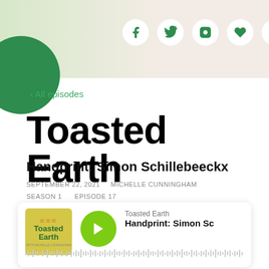[Figure (screenshot): Website header with light green and cream gradient background, a dark green semicircle on the left, and five social media icons (Facebook, Twitter, Instagram, heart/Bloglovin, Rotten Tomatoes-style) in white circles]
‹ All episodes
Toasted Earth
Handprint: Simon Schillebeeckx
SEPTEMBER 22, 2021    MICHELLE CUNNINGHAM
SEASON 1      EPISODE 17
[Figure (screenshot): Podcast player card showing Toasted Earth podcast artwork (yellow/green), a green play button, show name 'Toasted Earth' and episode title 'Handprint: Simon Sc...' with an audio waveform below]